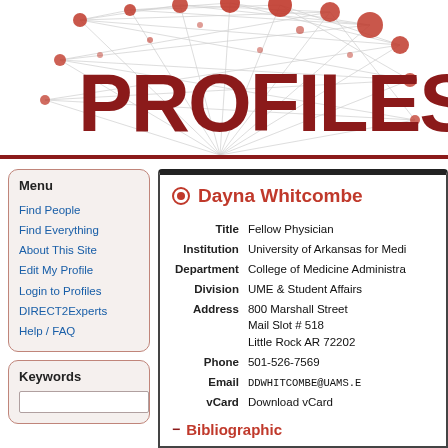[Figure (logo): PROFILES network visualization logo with red circular nodes and grey connecting lines forming a ferris-wheel pattern, with large dark red PROFILES text]
Menu
Find People
Find Everything
About This Site
Edit My Profile
Login to Profiles
DIRECT2Experts
Help / FAQ
Keywords
Dayna Whitcombe
| Field | Value |
| --- | --- |
| Title | Fellow Physician |
| Institution | University of Arkansas for Medi |
| Department | College of Medicine Administra |
| Division | UME & Student Affairs |
| Address | 800 Marshall Street
Mail Slot # 518
Little Rock AR 72202 |
| Phone | 501-526-7569 |
| Email | DDWHITCOMBE@UAMS.E |
| vCard | Download vCard |
Bibliographic